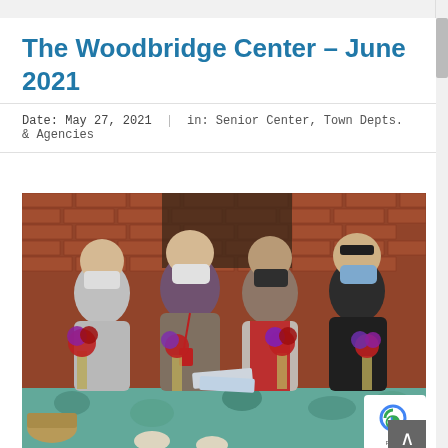The Woodbridge Center – June 2021
Date: May 27, 2021  |  in: Senior Center, Town Depts. & Agencies
[Figure (photo): Four women wearing face masks standing behind a table decorated with flowers (red and purple anemones in tall vases) and a floral tablecloth. They are outdoors or in an entryway with a brick wall behind them. The woman on the left wears a gray fleece jacket, the second wears a patterned jacket with a red lanyard badge, the third wears a dark mask and red top with a gray cardigan, and the fourth wears a black top with sunglasses on her head.]